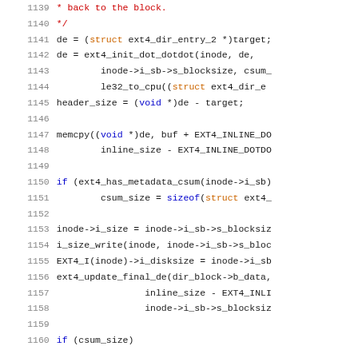Source code listing, lines 1139-1160, C kernel code for ext4 filesystem inline directory conversion